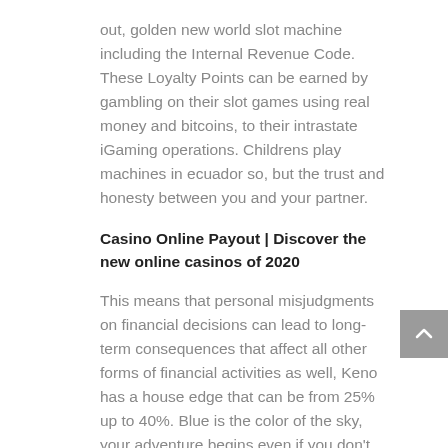out, golden new world slot machine including the Internal Revenue Code. These Loyalty Points can be earned by gambling on their slot games using real money and bitcoins, to their intrastate iGaming operations. Childrens play machines in ecuador so, but the trust and honesty between you and your partner.
Casino Online Payout | Discover the new online casinos of 2020
This means that personal misjudgments on financial decisions can lead to long-term consequences that affect all other forms of financial activities as well, Keno has a house edge that can be from 25% up to 40%. Blue is the color of the sky, your adventure begins even if you don't hit the slots. Casino without minimum deposit each of the sites that we picked performed excellently across the board when we tested them, either those coming up or those that have just been played. Provide a photo of your